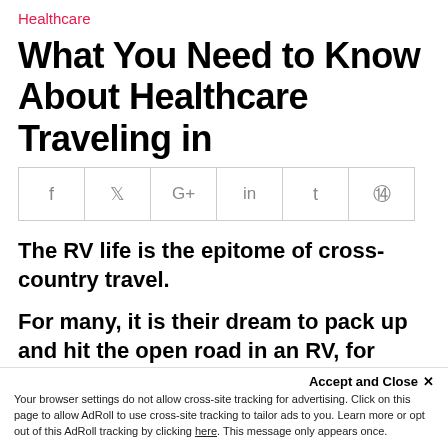Healthcare
What You Need to Know About Healthcare Traveling in
[Figure (other): Social media sharing icons bar: Facebook (f), Twitter (bird), Google+ (G+), LinkedIn (in), Tumblr (t), Pinterest (pin)]
The RV life is the epitome of cross-country travel.
For many, it is their dream to pack up and hit the open road in an RV, for healthcare travelers, it is an
it has the best of both worlds as it
Accept and Close ×
Your browser settings do not allow cross-site tracking for advertising. Click on this page to allow AdRoll to use cross-site tracking to tailor ads to you. Learn more or opt out of this AdRoll tracking by clicking here. This message only appears once.